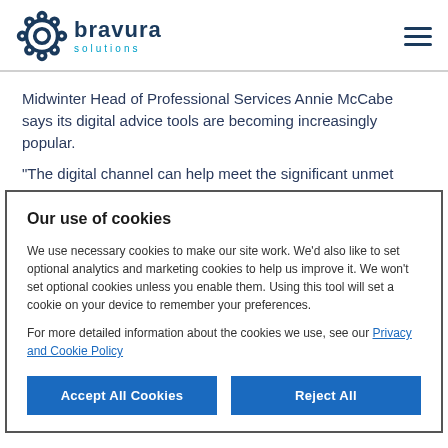[Figure (logo): Bravura Solutions logo with gear icon and company name]
Midwinter Head of Professional Services Annie McCabe says its digital advice tools are becoming increasingly popular.
“The digital channel can help meet the significant unmet demand for financial advice in the community, particularly for
Our use of cookies
We use necessary cookies to make our site work. We’d also like to set optional analytics and marketing cookies to help us improve it. We won’t set optional cookies unless you enable them. Using this tool will set a cookie on your device to remember your preferences.
For more detailed information about the cookies we use, see our Privacy and Cookie Policy
Accept All Cookies
Reject All